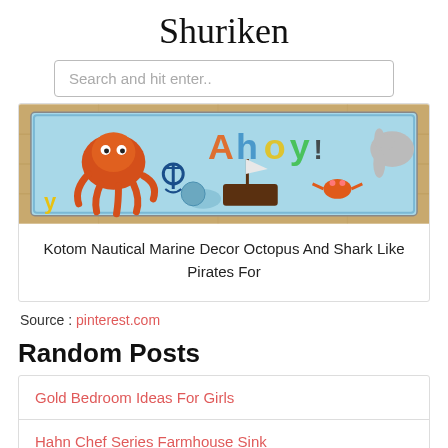Shuriken
Search and hit enter..
[Figure (photo): Colorful nautical/pirate themed children's rug with cartoon octopus, shark, and sea creature characters, placed on a wooden floor]
Kotom Nautical Marine Decor Octopus And Shark Like Pirates For
Source : pinterest.com
Random Posts
Gold Bedroom Ideas For Girls
Hahn Chef Series Farmhouse Sink